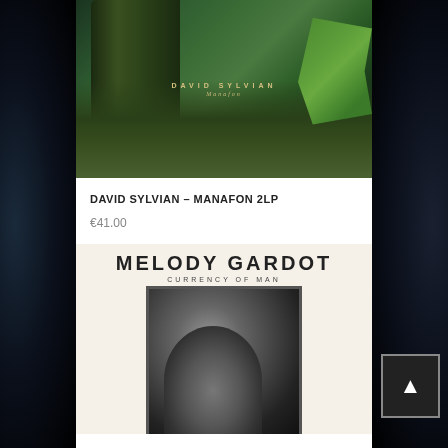[Figure (photo): David Sylvian Manafon album cover showing a dense forest scene with large tree roots and tropical foliage, dark green tones with album title text overlay]
DAVID SYLVIAN – MANAFON 2LP
€41.00
[Figure (photo): Melody Gardot Currency of Man album cover, black and white photo of a figure, with bold decorative typography showing artist name Melody Gardot and album title Currency of Man]